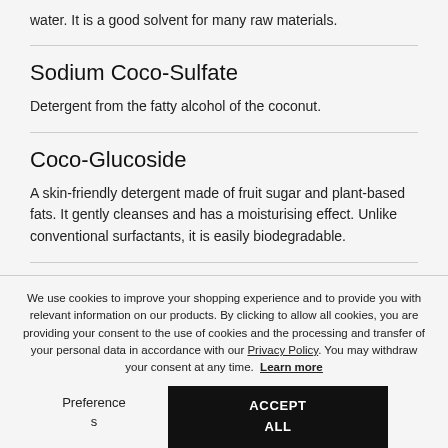water. It is a good solvent for many raw materials.
Sodium Coco-Sulfate
Detergent from the fatty alcohol of the coconut.
Coco-Glucoside
A skin-friendly detergent made of fruit sugar and plant-based fats. It gently cleanses and has a moisturising effect. Unlike conventional surfactants, it is easily biodegradable.
We use cookies to improve your shopping experience and to provide you with relevant information on our products. By clicking to allow all cookies, you are providing your consent to the use of cookies and the processing and transfer of your personal data in accordance with our Privacy Policy. You may withdraw your consent at any time. Learn more
Preferences
ACCEPT ALL